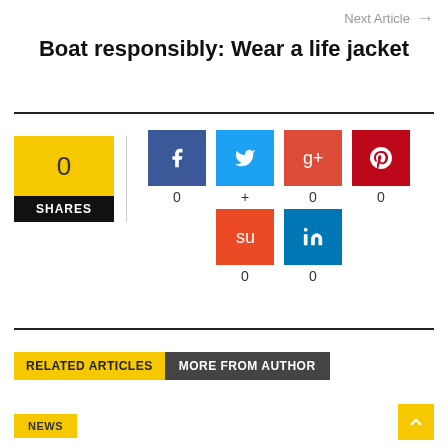Next Article →
Boat responsibly: Wear a life jacket
[Figure (infographic): Social share widget showing 0 SHARES with icons for Facebook (0), Twitter (+), Google+ (0), Pinterest (0), StumbleUpon (0), LinkedIn (0)]
RELATED ARTICLES   MORE FROM AUTHOR
NEWS